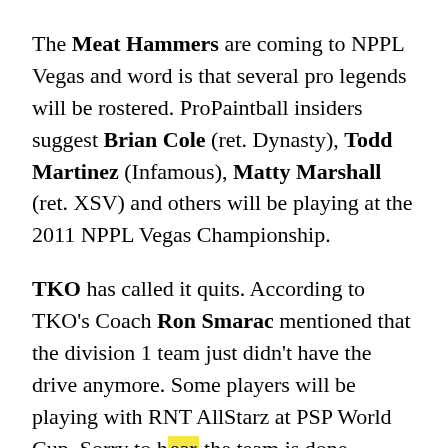The Meat Hammers are coming to NPPL Vegas and word is that several pro legends will be rostered. ProPaintball insiders suggest Brian Cole (ret. Dynasty), Todd Martinez (Infamous), Matty Marshall (ret. XSV) and others will be playing at the 2011 NPPL Vegas Championship.
TKO has called it quits. According to TKO's Coach Ron Smarac mentioned that the division 1 team just didn't have the drive anymore. Some players will be playing with RNT AllStarz at PSP World Cup. Sorry to hear the team is done.